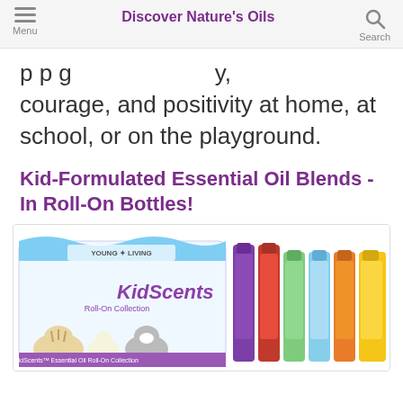Discover Nature's Oils
p p g y, courage, and positivity at home, at school, or on the playground.
Kid-Formulated Essential Oil Blends - In Roll-On Bottles!
[Figure (photo): KidScents Roll-On Collection box by Young Living with 6 colored roll-on bottles labeled Sleepyize, GeneYus, Owie, TummyGize, SniffleEase, and KidPower]